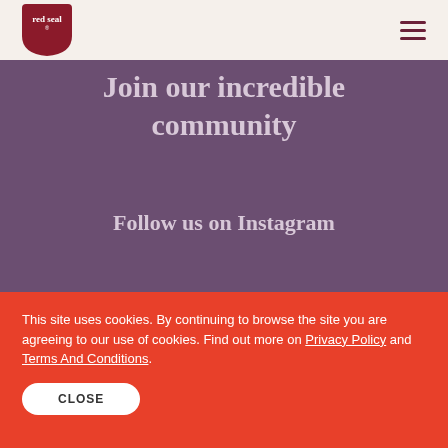[Figure (logo): Red Seal brand logo — white text on red shield shape]
Join our incredible community
Follow us on Instagram
[Figure (photo): Instagram feed photos showing a person and a product testimonial]
This site uses cookies. By continuing to browse the site you are agreeing to our use of cookies. Find out more on Privacy Policy and Terms And Conditions.
CLOSE